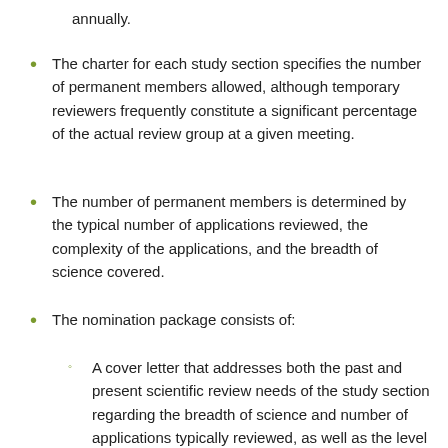annually.
The charter for each study section specifies the number of permanent members allowed, although temporary reviewers frequently constitute a significant percentage of the actual review group at a given meeting.
The number of permanent members is determined by the typical number of applications reviewed, the complexity of the applications, and the breadth of science covered.
The nomination package consists of:
A cover letter that addresses both the past and present scientific review needs of the study section regarding the breadth of science and number of applications typically reviewed, as well as the level of seniority and